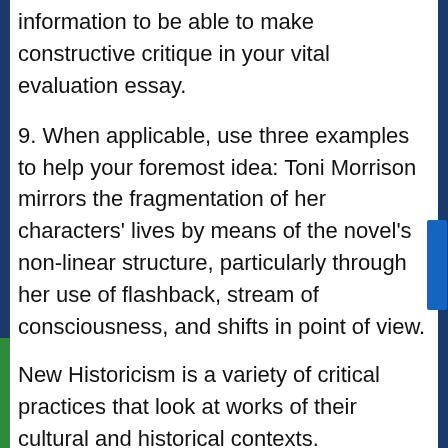information to be able to make constructive critique in your vital evaluation essay.
9. When applicable, use three examples to help your foremost idea: Toni Morrison mirrors the fragmentation of her characters' lives by means of the novel's non-linear structure, particularly through her use of flashback, stream of consciousness, and shifts in point of view.
New Historicism is a variety of critical practices that look at works of their cultural and historical contexts. Practitioners of the critical movement developed it by inspecting a variety of texts reminiscent of newspapers, ads, fashionable